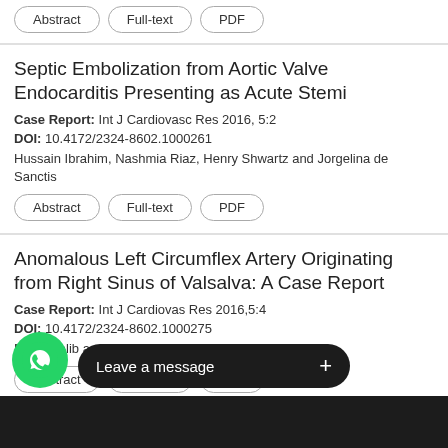Abstract | Full-text | PDF
Septic Embolization from Aortic Valve Endocarditis Presenting as Acute Stemi
Case Report: Int J Cardiovasc Res 2016, 5:2
DOI: 10.4172/2324-8602.1000261
Hussain Ibrahim, Nashmia Riaz, Henry Shwartz and Jorgelina de Sanctis
Abstract | Full-text | PDF
Anomalous Left Circumflex Artery Originating from Right Sinus of Valsalva: A Case Report
Case Report: Int J Cardiovas Res 2016,5:4
DOI: 10.4172/2324-8602.1000275
Mena Salib and Raul Amor
Abstract | Full-text | PDF
Leave a message +
Patients with
Une